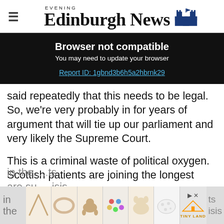Edinburgh Evening News
Browser not compatible
You may need to update your browser
Report ID: 1gbnd3b6h5a2hbrnk29
said repeatedly that this needs to be legal. So, we're very probably in for years of argument that will tie up our parliament and very likely the Supreme Court.
This is a criminal waste of political oxygen. Scottish patients are joining the longest queues in the...ts are su...isis
[Figure (screenshot): Advertisement banner with toy product images at the bottom of the page]